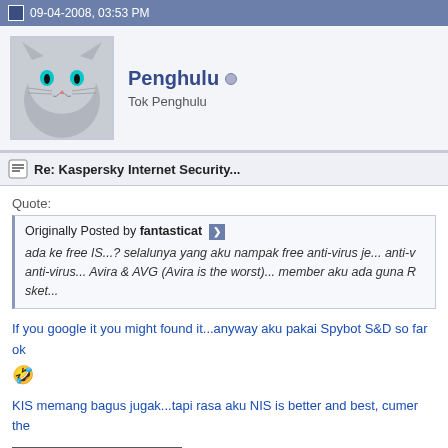09-04-2008, 03:53 PM
Penghulu
Tok Penghulu
Re: Kaspersky Internet Security...
Quote:
Originally Posted by fantasticat
ada ke free IS...? selalunya yang aku nampak free anti-virus je... anti-virus... Avira & AVG (Avira is the worst)... member aku ada guna R... sket...
If you google it you might found it...anyway aku pakai Spybot S&D so far ok
🤣
KIS memang bagus jugak...tapi rasa aku NIS is better and best, cumer the
MJ
Post Reply
Bookmarks